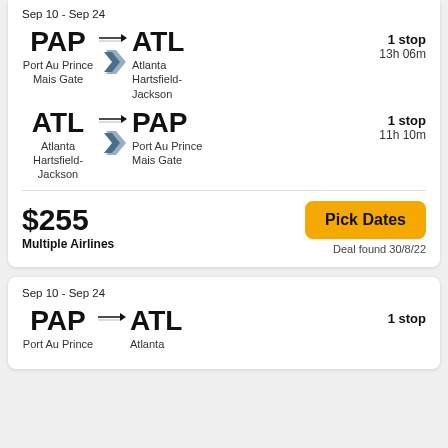Sep 10 - Sep 24
[Figure (infographic): Flight route PAP to ATL with airline logo, 1 stop, 13h 06m]
[Figure (infographic): Flight route ATL to PAP with airline logo, 1 stop, 11h 10m]
$255
Multiple Airlines
Pick Dates
Deal found 30/8/22
Sep 10 - Sep 24
[Figure (infographic): Flight route PAP to ATL, 1 stop (partial)]